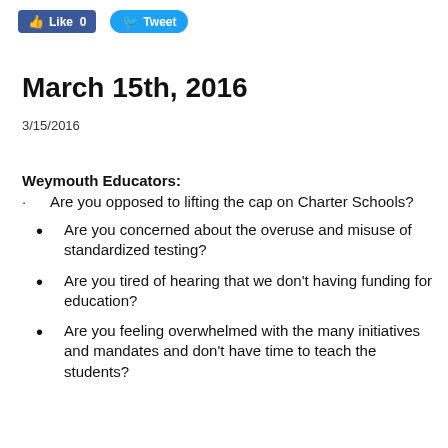[Figure (other): Social sharing buttons: Facebook Like (0) and Twitter Tweet]
March 15th, 2016
3/15/2016
Weymouth Educators:
Are you opposed to lifting the cap on Charter Schools?
Are you concerned about the overuse and misuse of standardized testing?
Are you tired of hearing that we don't having funding for education?
Are you feeling overwhelmed with the many initiatives and mandates and don't have time to teach the students?